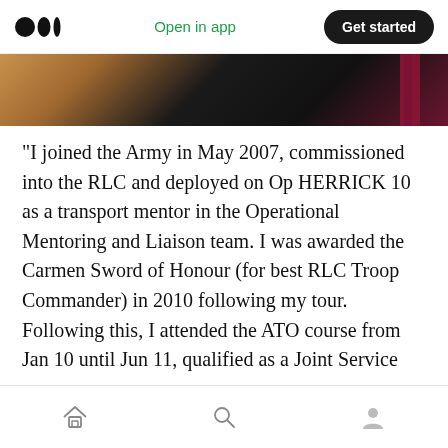Open in app | Get started
[Figure (photo): Partial photo showing dark clothing/uniform and maroon tassel against a warm brown background]
“I joined the Army in May 2007, commissioned into the RLC and deployed on Op HERRICK 10 as a transport mentor in the Operational Mentoring and Liaison team. I was awarded the Carmen Sword of Honour (for best RLC Troop Commander) in 2010 following my tour. Following this, I attended the ATO course from Jan 10 until Jun 11, qualified as a Joint Service Explosive ordnance disposal operator, and was posted to 11 EOD Regt RLC to run my own
Home | Search | Profile